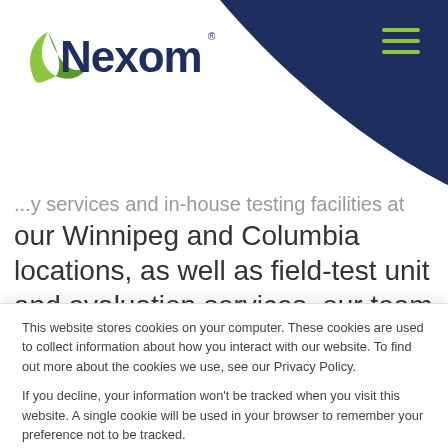[Figure (logo): Nexom company logo with green swoosh and dark blue text]
...y services and in-house testing facilities at our Winnipeg and Columbia locations, as well as field-test unit and evaluation services, our team of engineers and Ph.D's can help you get the assurance you need that your reaction kinetics are dialed in, your aeration performance
This website stores cookies on your computer. These cookies are used to collect information about how you interact with our website. To find out more about the cookies we use, see our Privacy Policy.

If you decline, your information won't be tracked when you visit this website. A single cookie will be used in your browser to remember your preference not to be tracked.
Accept
Decline